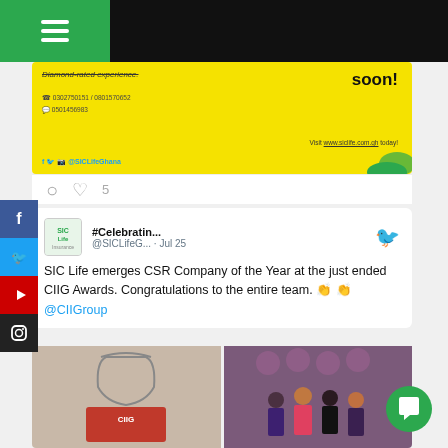[Figure (screenshot): Top navigation bar with hamburger menu icon on green background and dark header]
[Figure (screenshot): Yellow SIC Life advertisement card with text 'Diamond-rated experience', phone numbers, 'soon!' label and website visit prompt]
5
#Celebratin... @SICLifeG... · Jul 25
SIC Life emerges CSR Company of the Year at the just ended CIIG Awards. Congratulations to the entire team. 👏 👏 @CIIGroup
[Figure (photo): Two photos side by side: left shows a CIIG award trophy with red base, right shows group of people at CIIG Awards event]
[Figure (other): Social media sidebar with Facebook, Twitter, YouTube, and Instagram icons]
[Figure (other): Green circular chat button in bottom right corner]